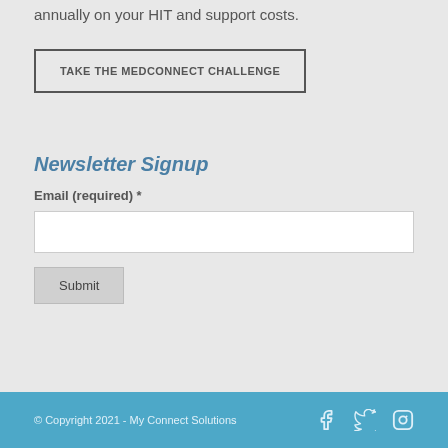annually on your HIT and support costs.
TAKE THE MEDCONNECT CHALLENGE
Newsletter Signup
Email (required) *
© Copyright 2021 - My Connect Solutions